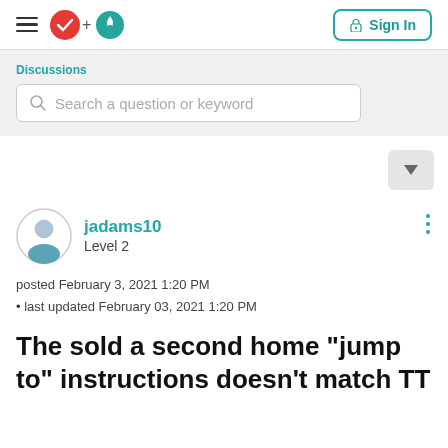≡ [logo] + [logo]   Sign In
Discussions
Search a question or keyword
jadams10
Level 2
posted February 3, 2021 1:20 PM
• last updated February 03, 2021 1:20 PM
The sold a second home "jump to" instructions doesn't match TT